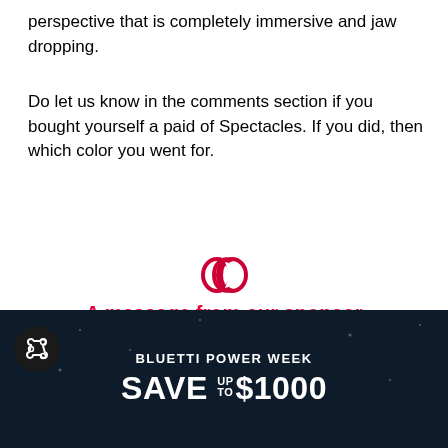perspective that is completely immersive and jaw dropping.
Do let us know in the comments section if you bought yourself a paid of Spectacles. If you did, then which color you went for.
[Figure (illustration): Two interlocking rings / chain link icon in red/dark color, representing a sponsor link icon]
A message from our sponsor
[Figure (screenshot): Dark navy advertisement banner for BLUETTI POWER WEEK with text SAVE UP TO $1000 in white bold letters, with a share icon circle on the top-left]